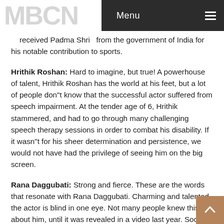MBCN | Menu
...received Padma Shri from the government of India for his notable contribution to sports.
Hrithik Roshan: Hard to imagine, but true! A powerhouse of talent, Hrithik Roshan has the world at his feet, but a lot of people don"t know that the successful actor suffered from speech impairment. At the tender age of 6, Hrithik stammered, and had to go through many challenging speech therapy sessions in order to combat his disability. If it wasn"t for his sheer determination and persistence, we would not have had the privilege of seeing him on the big screen.
Rana Daggubati: Strong and fierce. These are the words that resonate with Rana Daggubati. Charming and talented, the actor is blind in one eye. Not many people knew this about him, until it was revealed in a video last year. Soon, the video went viral. The information came as a shock to everyone, since the rumors circled Rana Daggubati's disability, but his...